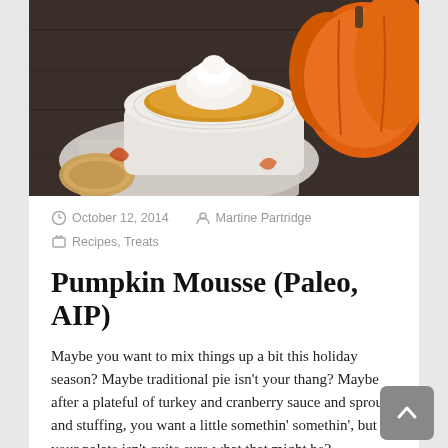[Figure (photo): Food photo showing a white ceramic bowl of pumpkin mousse with whipped cream on top, placed on a cloth napkin, with an orange pumpkin visible in the upper right corner, on a dark wooden surface.]
October 12, 2014   Martine Partridge
Recipes, Treats
Pumpkin Mousse (Paleo, AIP)
Maybe you want to mix things up a bit this holiday season? Maybe traditional pie isn't your thang? Maybe after a plateful of turkey and cranberry sauce and sprouts and stuffing, you want a little somethin' somethin', but your palate isn't quite sure what that might be?